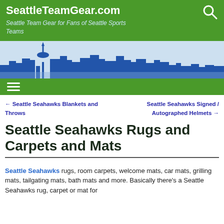SeattleTeamGear.com — Seattle Team Gear for Fans of Seattle Sports Teams
[Figure (illustration): Blue Seattle skyline silhouette with Space Needle on light blue background]
← Seattle Seahawks Blankets and Throws    Seattle Seahawks Signed / Autographed Helmets →
Seattle Seahawks Rugs and Carpets and Mats
Seattle Seahawks rugs, room carpets, welcome mats, car mats, grilling mats, tailgating mats, bath mats and more. Basically there's a Seattle Seahawks rug, carpet or mat for